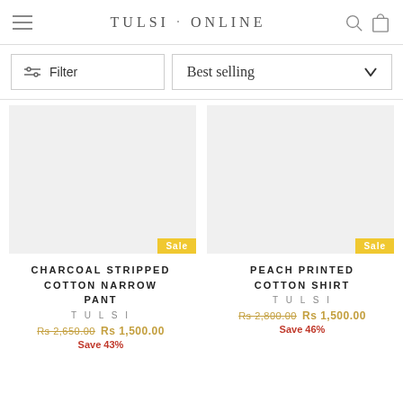TULSI · ONLINE
Filter | Best selling
[Figure (screenshot): Product image placeholder for Charcoal Stripped Cotton Narrow Pant with Sale badge]
CHARCOAL STRIPPED COTTON NARROW PANT
TULSI
Rs 2,650.00  Rs 1,500.00
Save 43%
[Figure (screenshot): Product image placeholder for Peach Printed Cotton Shirt with Sale badge]
PEACH PRINTED COTTON SHIRT
TULSI
Rs 2,800.00  Rs 1,500.00
Save 46%